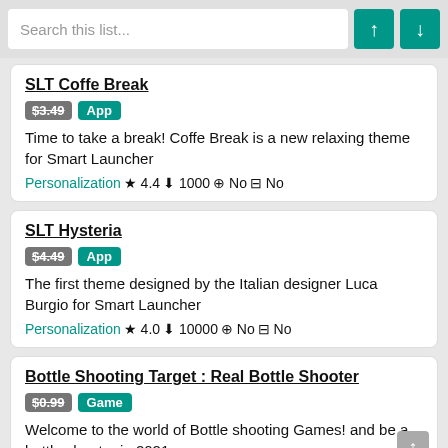Search this list...
SLT Coffe Break | $3.49 App | Time to take a break! Coffe Break is a new relaxing theme for Smart Launcher | Personalization ★ 4.4 ↓ 1000 ⊕ No 🛒 No
SLT Hysteria | $4.49 App | The first theme designed by the Italian designer Luca Burgio for Smart Launcher | Personalization ★ 4.0 ↓ 10000 ⊕ No 🛒 No
Bottle Shooting Target : Real Bottle Shooter | $0.99 Game | Welcome to the world of Bottle shooting Games! and be a bottle shooter in 2021.